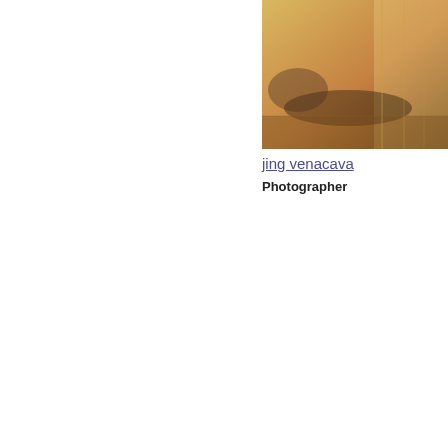[Figure (photo): Warm-toned photo of a person lying on a bed, golden light, top-left area]
jing venacava
Photographer
Image Not Viewable in
Worksafe Mode 'O
[Figure (photo): Blue-toned photo showing two people kissing, repeated/mirrored composition]
Amanda Korryn
Model
[Figure (photo): Portrait of a young woman with long dark hair holding a feather or plant stem, warm earthy tones]
Peter Van Beever
Photographer